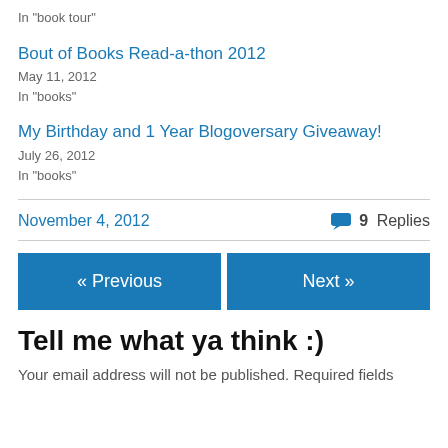In "book tour"
Bout of Books Read-a-thon 2012
May 11, 2012
In "books"
My Birthday and 1 Year Blogoversary Giveaway!
July 26, 2012
In "books"
November 4, 2012   9 Replies
« Previous   Next »
Tell me what ya think :)
Your email address will not be published. Required fields